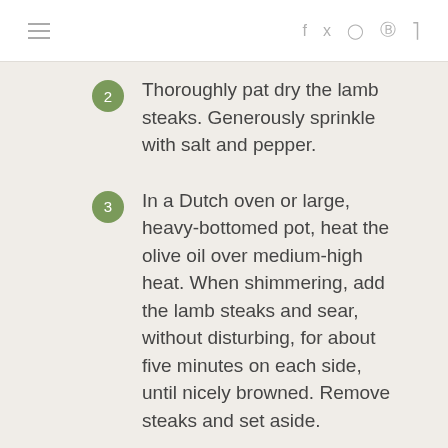≡   f  t  ⊙  ℗  ⊃
2. Thoroughly pat dry the lamb steaks. Generously sprinkle with salt and pepper.
3. In a Dutch oven or large, heavy-bottomed pot, heat the olive oil over medium-high heat. When shimmering, add the lamb steaks and sear, without disturbing, for about five minutes on each side, until nicely browned. Remove steaks and set aside.
4. Reduce heat to medium-low. Add the onions and sauté for